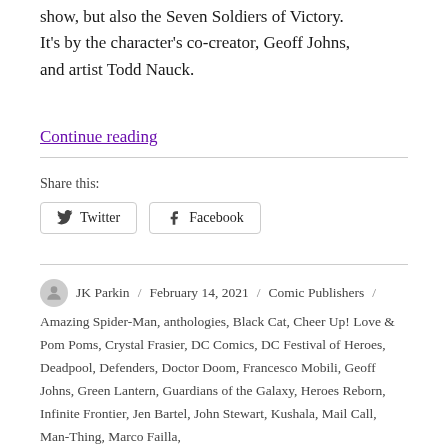show, but also the Seven Soldiers of Victory. It's by the character's co-creator, Geoff Johns, and artist Todd Nauck.
Continue reading
Share this:
Twitter
Facebook
JK Parkin / February 14, 2021 / Comic Publishers / Amazing Spider-Man, anthologies, Black Cat, Cheer Up! Love & Pom Poms, Crystal Frasier, DC Comics, DC Festival of Heroes, Deadpool, Defenders, Doctor Doom, Francesco Mobili, Geoff Johns, Green Lantern, Guardians of the Galaxy, Heroes Reborn, Infinite Frontier, Jen Bartel, John Stewart, Kushala, Mail Call, Man-Thing, Marco Failla,